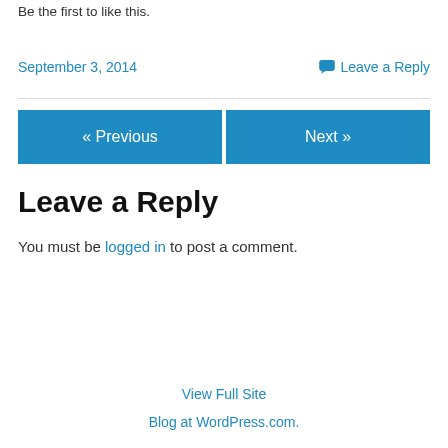Be the first to like this.
September 3, 2014
Leave a Reply
« Previous
Next »
Leave a Reply
You must be logged in to post a comment.
View Full Site
Blog at WordPress.com.